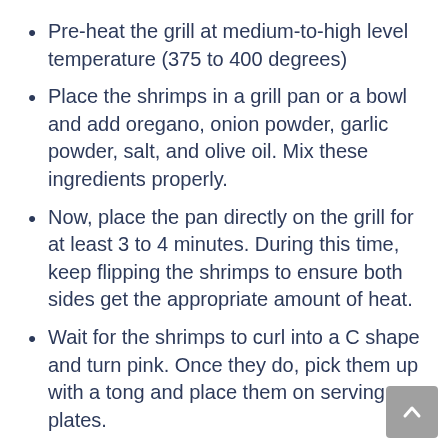Pre-heat the grill at medium-to-high level temperature (375 to 400 degrees)
Place the shrimps in a grill pan or a bowl and add oregano, onion powder, garlic powder, salt, and olive oil. Mix these ingredients properly.
Now, place the pan directly on the grill for at least 3 to 4 minutes. During this time, keep flipping the shrimps to ensure both sides get the appropriate amount of heat.
Wait for the shrimps to curl into a C shape and turn pink. Once they do, pick them up with a tong and place them on serving plates.
Squeeze some lemon on top to add a savory flavor and your shrimps are ready.